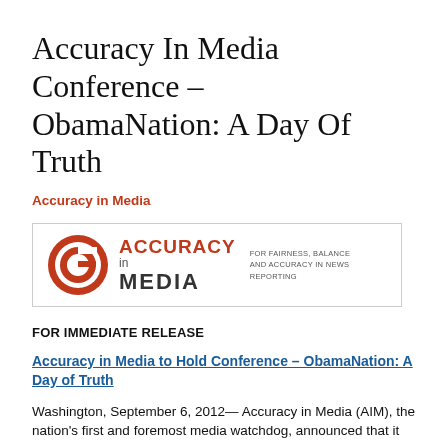Accuracy In Media Conference – ObamaNation: A Day Of Truth
Accuracy in Media
[Figure (logo): Accuracy in Media logo with circular G symbol in red and the text ACCURACY in MEDIA with tagline FOR FAIRNESS, BALANCE AND ACCURACY IN NEWS REPORTING]
FOR IMMEDIATE RELEASE
Accuracy in Media to Hold Conference – ObamaNation: A Day of Truth
Washington, September 6, 2012— Accuracy in Media (AIM), the nation's first and foremost media watchdog, announced that it